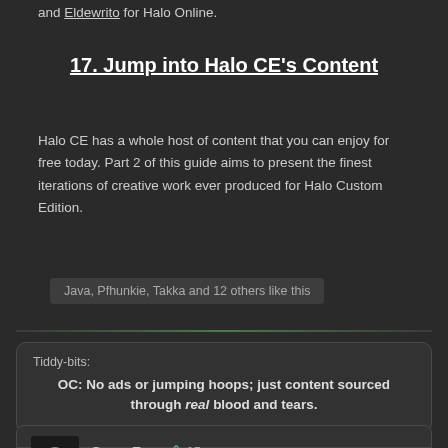and Eldewrito for Halo Online.
17. Jump into Halo CE's Content
Halo CE has a whole host of content that you can enjoy for free today. Part 2 of this guide aims to present the finest iterations of creative work ever produced for Halo Custom Edition.
Java, Pfhunkie, Takka and 12 others like this
Tiddy-bits:
OC: No ads or jumping hoops; just content sourced through real blood and tears.
SomeFan 👍 15
Member